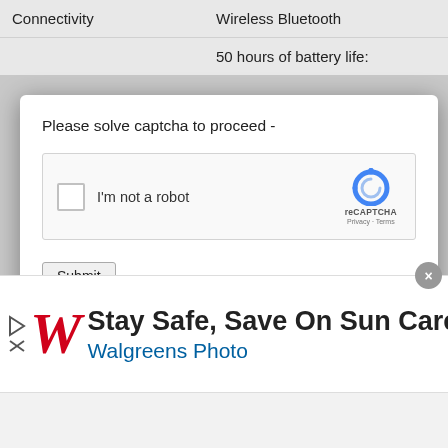|  |  |
| --- | --- |
| Connectivity | Wireless Bluetooth |
|  | 50 hours of battery life: |
Please solve captcha to proceed -
[Figure (screenshot): reCAPTCHA widget with checkbox labeled 'I'm not a robot' and reCAPTCHA logo with Privacy and Terms links]
Submit
[Figure (photo): Photo of a person wearing headphones, dark background with brick wall]
[Figure (screenshot): Advertisement banner: Stay Safe, Save On Sun Care - Walgreens Photo, with Walgreens W logo and blue arrow sign icon, with close button]